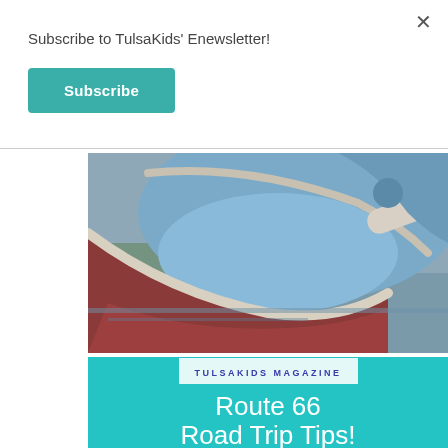Subscribe to TulsaKids' Enewsletter!
Subscribe
[Figure (photo): Close-up photo of a large blue whale sculpture/playground equipment with open mouth showing red tongue and white teeth texture, outdoors near water]
TULSAKIDS MAGAZINE
Route 66
Road Trip Tips!
BY TARA RITTLER